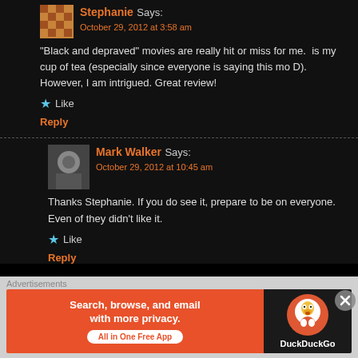Stephanie Says:
October 29, 2012 at 3:58 am
"Black and depraved" movies are really hit or miss for me. is my cup of tea (especially since everyone is saying this mo D). However, I am intrigued. Great review!
Like
Reply
Mark Walker Says:
October 29, 2012 at 10:45 am
Thanks Stephanie. If you do see it, prepare to be on everyone. Even of they didn't like it.
Like
Reply
CMrok93 Says:
October 29, 2012 at 7:12 am
Good review Mark. It's a pretty messed-up movie but is bol great performances from everybody involved. I highly s
Advertisements
[Figure (infographic): DuckDuckGo advertisement banner: orange left side with text 'Search, browse, and email with more privacy. All in One Free App' and dark right side with DuckDuckGo duck logo and label 'DuckDuckGo']